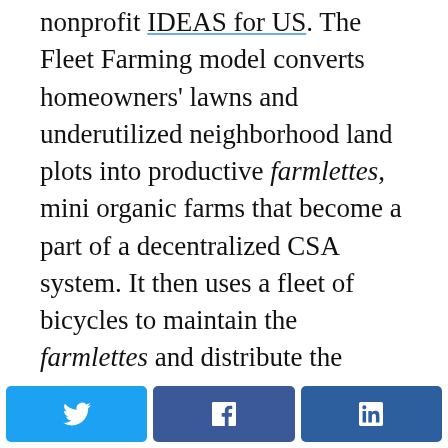nonprofit IDEAS for US. The Fleet Farming model converts homeowners' lawns and underutilized neighborhood land plots into productive farmlettes, mini organic farms that become a part of a decentralized CSA system. It then uses a fleet of bicycles to maintain the farmlettes and distribute the harvested produce to various restaurants and farmers' markets in the neighborhood. In exchange for donating their lawn, the homeowner also receives 5 to 10 percent of the food produced on their farmlette. The model works to support the local economy by keeping local revenues within the community.
[Figure (other): Social sharing buttons: Twitter (blue), Facebook (blue), LinkedIn (dark blue)]